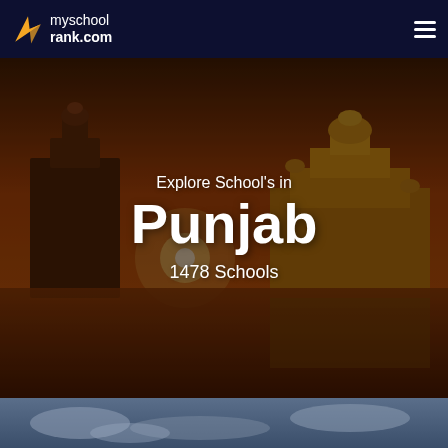myschoolrank.com
Explore School's in Punjab
1478 Schools
[Figure (photo): Aerial/landscape photo of the Golden Temple in Amritsar, Punjab, India, with orange/amber tones at sunset, reflected in surrounding water. Text overlay reads 'Explore School's in Punjab', 'Punjab', '1478 Schools'.]
[Figure (photo): Partial view of a sky/landscape photo with blue-grey cloudy sky tones, cropped at the bottom of the page.]